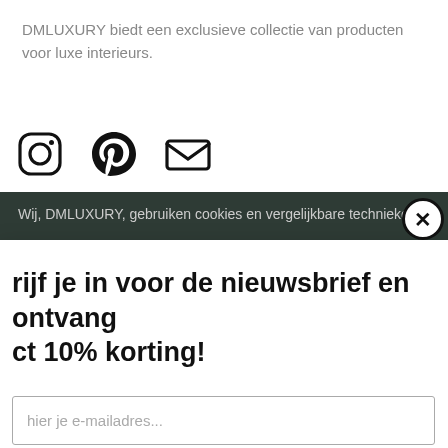DMLUXURY biedt een exclusieve collectie van producten voor luxe interieurs.
[Figure (illustration): Three social media icons: Instagram, Pinterest, and email/envelope icons in outline style]
Wij, DMLUXURY, gebruiken cookies en vergelijkbare technieken.
rijf je in voor de nieuwsbrief en ontvang ct 10% korting!
hier je e-mailadres...
hrijven